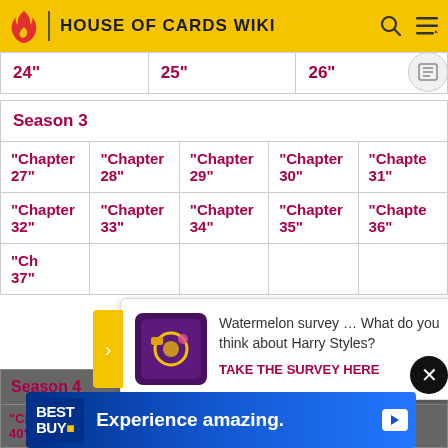HOUSE OF CARDS WIKI
| 24" | 25" | 26" |
| --- | --- | --- |
| Season 3 |
| --- |
| "Chapter 27" | "Chapter 28" | "Chapter 29" | "Chapter 30" | "Chapter 31" |
| "Chapter 32" | "Chapter 33" | "Chapter 34" | "Chapter 35" | "Chapter 36" |
| "Chapter 37" |  |  |  |  |
Watermelon survey … What do you think about Harry Styles? TAKE THE SURVEY HERE
| Season 4 |
| --- |
| "Chapter 40" | 41" | 42" | 43" | "Chapter 44" |